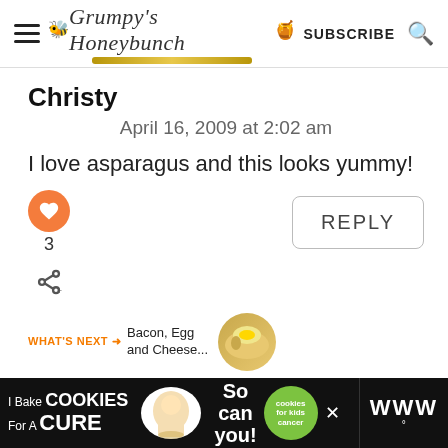Grumpy's Honeybunch — SUBSCRIBE
Christy
April 16, 2009 at 2:02 am
I love asparagus and this looks yummy!
3
REPLY
WHAT'S NEXT → Bacon, Egg and Cheese...
[Figure (other): Advertisement banner: I Bake COOKIES For A CURE with Haldora, 11 Cancer Survivor, So can you! cookies for kids cancer logo, and close button. Dark background.]